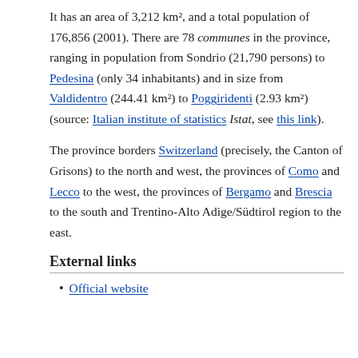It has an area of 3,212 km², and a total population of 176,856 (2001). There are 78 communes in the province, ranging in population from Sondrio (21,790 persons) to Pedesina (only 34 inhabitants) and in size from Valdidentro (244.41 km²) to Poggiridenti (2.93 km²) (source: Italian institute of statistics Istat, see this link).
The province borders Switzerland (precisely, the Canton of Grisons) to the north and west, the provinces of Como and Lecco to the west, the provinces of Bergamo and Brescia to the south and Trentino-Alto Adige/Südtirol region to the east.
External links
Official website